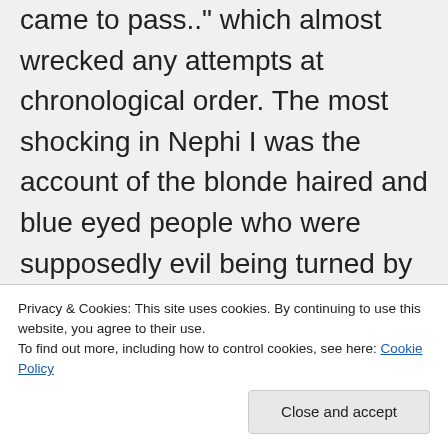came to pass.." which almost wrecked any attempts at chronological order. The most shocking in Nephi I was the account of the blonde haired and blue eyed people who were supposedly evil being turned by The Lord into “ugly” and “Black skinned”. The account of the reason for the color of the Native American, though preposterous, at least had some action attached to it. The account of animals present in the New Land who simple never existed there and
Privacy & Cookies: This site uses cookies. By continuing to use this website, you agree to their use.
To find out more, including how to control cookies, see here: Cookie Policy
literalist. Jesus said it, I believe it and